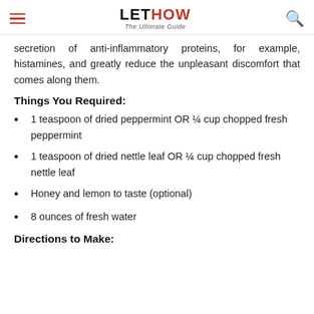LETHOW The Ultimate Guide
secretion of anti-inflammatory proteins, for example, histamines, and greatly reduce the unpleasant discomfort that comes along them.
Things You Required:
1 teaspoon of dried peppermint OR ¼ cup chopped fresh peppermint
1 teaspoon of dried nettle leaf OR ¼ cup chopped fresh nettle leaf
Honey and lemon to taste (optional)
8 ounces of fresh water
Directions to Make: